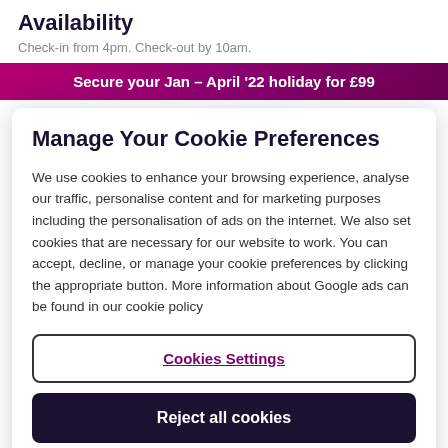Availability
Check-in from 4pm. Check-out by 10am.
Secure your Jan – April '22 holiday for £99
Manage Your Cookie Preferences
We use cookies to enhance your browsing experience, analyse our traffic, personalise content and for marketing purposes including the personalisation of ads on the internet. We also set cookies that are necessary for our website to work. You can accept, decline, or manage your cookie preferences by clicking the appropriate button. More information about Google ads can be found in our cookie policy
Cookies Settings
Reject all cookies
Accept all cookies